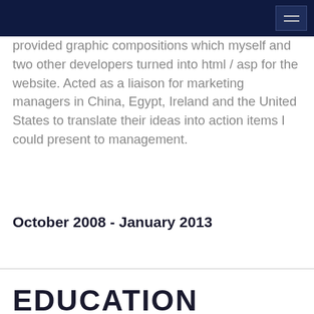provided graphic compositions which myself and two other developers turned into html / asp for the website. Acted as a liaison for marketing managers in China, Egypt, Ireland and the United States to translate their ideas into action items I could present to management.
October 2008 - January 2013
EDUCATION